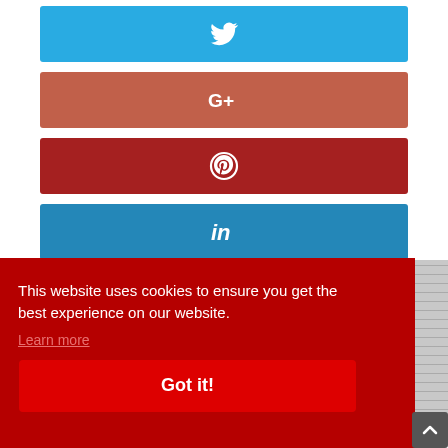[Figure (other): Twitter share button - blue rounded rectangle with white Twitter bird icon]
[Figure (other): Google+ share button - reddish-orange rounded rectangle with white G+ icon]
[Figure (other): Pinterest share button - dark red rounded rectangle with white Pinterest P icon]
[Figure (other): LinkedIn share button - blue rounded rectangle with white 'in' LinkedIn icon]
This website uses cookies to ensure you get the best experience on our website.
Learn more
Got it!
[Figure (other): Partial image of a room/plant visible on the right side]
alternativoJ